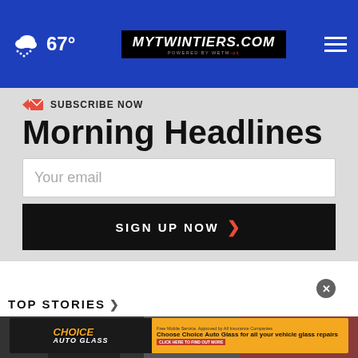67°  mytwintiers.com
SUBSCRIBE NOW
Morning Headlines
Your email
SIGN UP NOW ›
TOP STORIES ›
[Figure (screenshot): Video thumbnail showing a street scene with buildings]
[Figure (photo): Choice Auto Glass advertisement banner — Free Mobile Service, Approved by All Insurance Companies. Choose Choice Auto Glass for all your vehicle glass repairs. Click here to find out more.]